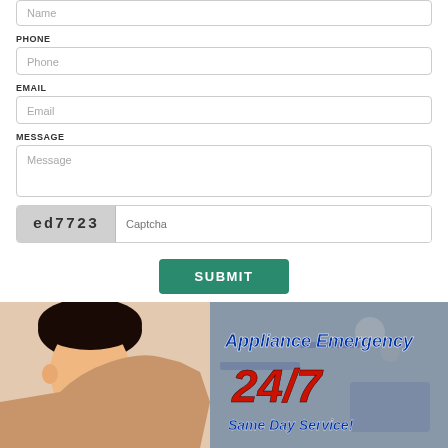Name
PHONE
Phone
EMAIL
Email
MESSAGE
Message
ed7723
Captcha
SUBMIT
[Figure (infographic): Banner image showing a person with hand on head (distressed) on the left, and on the right bold italic text reading 'Appliance Emergency 24/7 Same Day Service!' in blue and red on a grey/tool background]